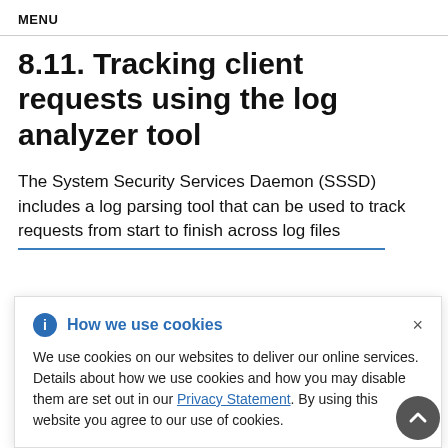MENU
8.11. Tracking client requests using the log analyzer tool
The System Security Services Daemon (SSSD) includes a log parsing tool that can be used to track requests from start to finish across log files
[Figure (other): Cookie consent dialog overlay with blue info icon, title 'How we use cookies', close button (×), and body text: 'We use cookies on our websites to deliver our online services. Details about how we use cookies and how you may disable them are set out in our Privacy Statement. By using this website you agree to our use of cookies.']
multiple SSSD components. You run the analyzer